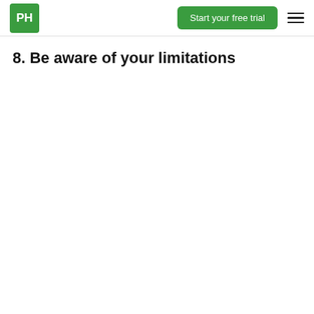PH | Start your free trial
8. Be aware of your limitations